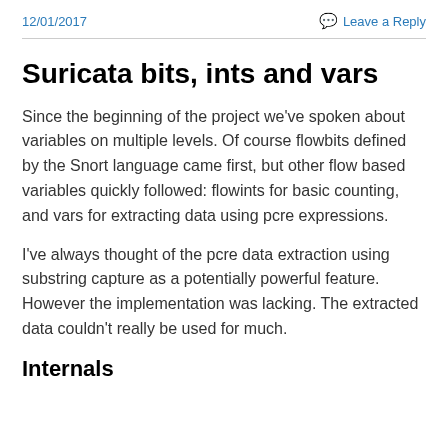12/01/2017    Leave a Reply
Suricata bits, ints and vars
Since the beginning of the project we've spoken about variables on multiple levels. Of course flowbits defined by the Snort language came first, but other flow based variables quickly followed: flowints for basic counting, and vars for extracting data using pcre expressions.
I've always thought of the pcre data extraction using substring capture as a potentially powerful feature. However the implementation was lacking. The extracted data couldn't really be used for much.
Internals